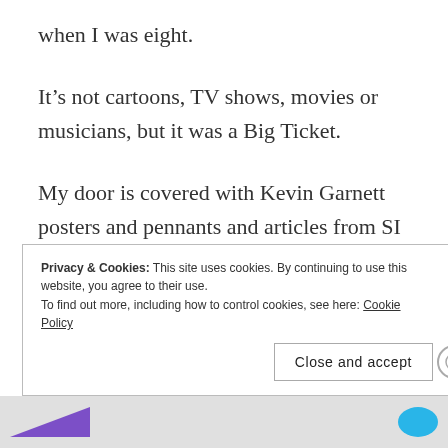when I was eight.
It’s not cartoons, TV shows, movies or musicians, but it was a Big Ticket.
My door is covered with Kevin Garnett posters and pennants and articles from SI for Kids. I kind of liked the guy. He was the best basketball player on my favorite team that
Privacy & Cookies: This site uses cookies. By continuing to use this website, you agree to their use.
To find out more, including how to control cookies, see here: Cookie Policy
Close and accept